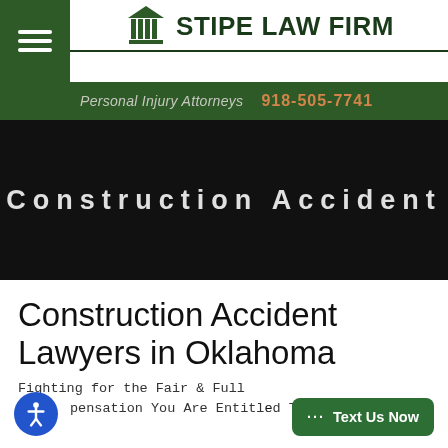STIPE LAW FIRM — Personal Injury Attorneys — 918-505-7741
Construction Accident
Construction Accident Lawyers in Oklahoma
Fighting for the Fair & Full Compensation You Are Entitled To